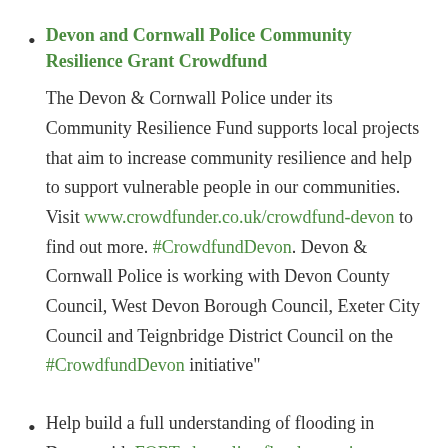Devon and Cornwall Police Community Resilience Grant Crowdfund — The Devon & Cornwall Police under its Community Resilience Fund supports local projects that aim to increase community resilience and help to support vulnerable people in our communities. Visit www.crowdfunder.co.uk/crowdfund-devon to find out more. #CrowdfundDevon. Devon & Cornwall Police is working with Devon County Council, West Devon Borough Council, Exeter City Council and Teignbridge District Council on the #CrowdfundDevon initiative”
Help build a full understanding of flooding in Devon with FORT, the online flood reporting